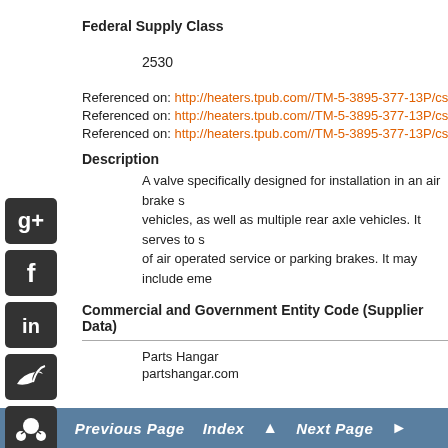Federal Supply Class
2530
Referenced on: http://heaters.tpub.com//TM-5-3895-377-13P/css/T
Referenced on: http://heaters.tpub.com//TM-5-3895-377-13P/css/T
Referenced on: http://heaters.tpub.com//TM-5-3895-377-13P/css/T
Description
A valve specifically designed for installation in an air brake s vehicles, as well as multiple rear axle vehicles. It serves to s of air operated service or parking brakes. It may include eme
Commercial and Government Entity Code (Supplier Data)
Parts Hangar
partshangar.com
< Previous Page  Index  Next Page >